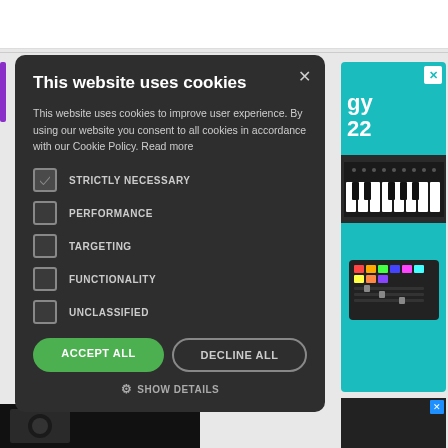[Figure (screenshot): Cookie consent modal dialog on a dark background. Modal title: 'This website uses cookies'. Contains body text, checkboxes for STRICTLY NECESSARY, PERFORMANCE, TARGETING, FUNCTIONALITY, UNCLASSIFIED, and buttons ACCEPT ALL and DECLINE ALL, plus SHOW DETAILS link.]
This website uses cookies
This website uses cookies to improve user experience. By using our website you consent to all cookies in accordance with our Cookie Policy. Read more
☑ STRICTLY NECESSARY
☐ PERFORMANCE
☐ TARGETING
☐ FUNCTIONALITY
☐ UNCLASSIFIED
ACCEPT ALL   DECLINE ALL
⚙ SHOW DETAILS